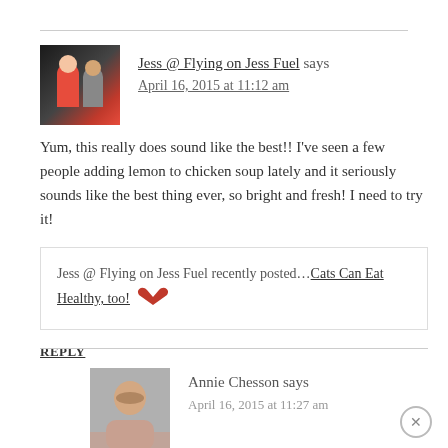Jess @ Flying on Jess Fuel says
April 16, 2015 at 11:12 am

Yum, this really does sound like the best!! I've seen a few people adding lemon to chicken soup lately and it seriously sounds like the best thing ever, so bright and fresh! I need to try it!

Jess @ Flying on Jess Fuel recently posted…Cats Can Eat Healthy, too!

REPLY
Annie Chesson says
April 16, 2015 at 11:27 am